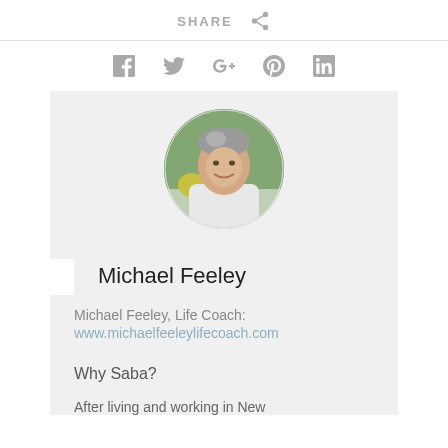SHARE
[Figure (infographic): Social sharing icons: Facebook, Twitter, Google+, Pinterest, LinkedIn]
[Figure (photo): Circular cropped headshot photo of Michael Feeley, a middle-aged man with grey hair, wearing a white shirt, smiling outdoors]
Michael Feeley
Michael Feeley, Life Coach:
www.michaelfeeleylifecoach.com
Why Saba?
After living and working in New